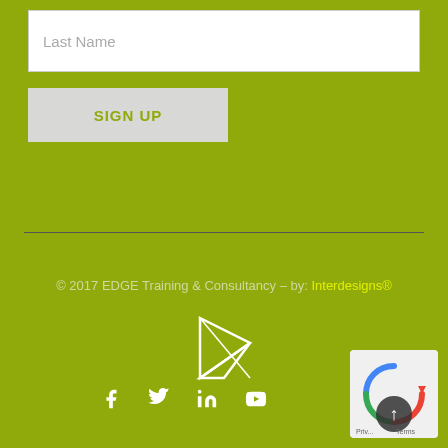Last Name
SIGN UP
© 2017 EDGE Training & Consultancy - by: Interdesigns®
[Figure (logo): White triangle/arrow logo for Interdesigns]
[Figure (infographic): Social media icons: Facebook, Twitter, LinkedIn, YouTube]
[Figure (other): Privacy & Terms badge with reCAPTCHA logo and scroll-to-top button]